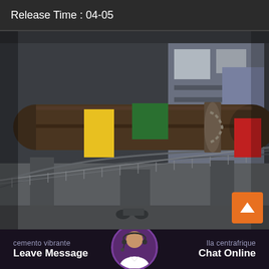Release Time : 04-05
[Figure (photo): Industrial rotary kiln or large pipe/drum equipment at a cement or industrial facility. Large cylindrical metal drums are visible on elevated structural supports with guardrails. Colorful painted panels (yellow, green, red, blue) on the structure. Industrial building in background.]
cemento vibrante lla centrafrique
Leave Message   Chat Online